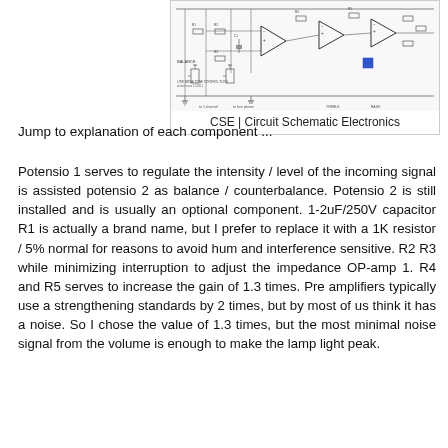[Figure (circuit-diagram): Low noise tone control circuit schematic (TL074 op-amp based) with components labeled including R1-R5, capacitors, potentiometers, and op-amp stages. Caption reads: CSE | Circuit Schematic Electronics]
CSE | Circuit Schematic Electronics
Jump to explanation of each component ...
Potensio 1 serves to regulate the intensity / level of the incoming signal is assisted potensio 2 as balance / counterbalance. Potensio 2 is still installed and is usually an optional component. 1-2uF/250V capacitor R1 is actually a brand name, but I prefer to replace it with a 1K resistor / 5% normal for reasons to avoid hum and interference sensitive. R2 R3 while minimizing interruption to adjust the impedance OP-amp 1. R4 and R5 serves to increase the gain of 1.3 times. Pre amplifiers typically use a strengthening standards by 2 times, but by most of us think it has a noise. So I chose the value of 1.3 times, but the most minimal noise signal from the volume is enough to make the lamp light peak.